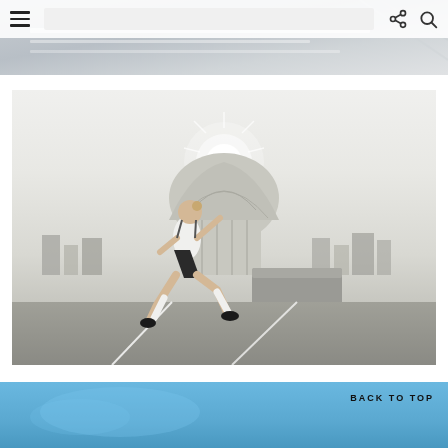[Figure (screenshot): Website navigation bar with hamburger menu icon on left, share icon and search icon on right, overlaid on a light gray document/paper background photo]
[Figure (photo): Athlete (woman) in white tank top and black shorts with white compression sleeves leaping dynamically across a rooftop parking structure, with a domed classical building and city skyline in the background, sun burst behind the dome]
BACK TO TOP
[Figure (photo): Partial view of a blue sky background image at the bottom of the page]